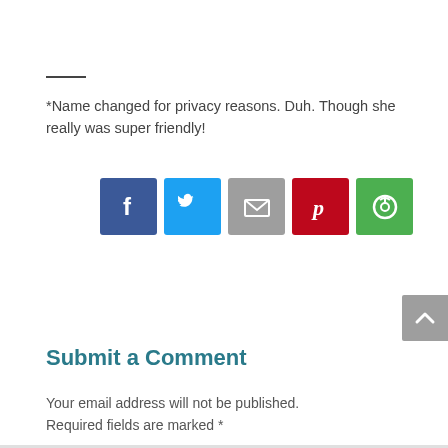*Name changed for privacy reasons. Duh. Though she really was super friendly!
[Figure (other): Row of 5 social sharing icon buttons: Facebook (blue), Twitter (light blue), Email (grey), Pinterest (red), and a green sharing icon]
[Figure (other): Grey scroll-to-top button with upward chevron arrow, partially visible at right edge]
Submit a Comment
Your email address will not be published. Required fields are marked *